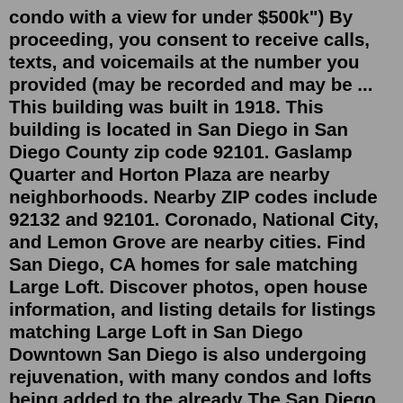condo with a view for under $500k") By proceeding, you consent to receive calls, texts, and voicemails at the number you provided (may be recorded and may be ... This building was built in 1918. This building is located in San Diego in San Diego County zip code 92101. Gaslamp Quarter and Horton Plaza are nearby neighborhoods. Nearby ZIP codes include 92132 and 92101. Coronado, National City, and Lemon Grove are nearby cities. Find San Diego, CA homes for sale matching Large Loft. Discover photos, open house information, and listing details for listings matching Large Loft in San Diego Downtown San Diego is also undergoing rejuvenation, with many condos and lofts being added to the already The San Diego real estate market is quite different from other markets of similar climates.San Diego Lofts. Award-winning homes from RUBNaN. Discover our selection of the finest lofts for your next getaway in San Diego, CA, U.S.. Plum Guide's homes come fully furnished with the...529 Market Street, San Diego, CA 92101